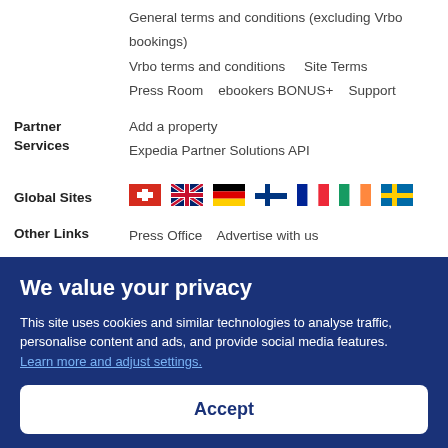General terms and conditions (excluding Vrbo bookings)
Vrbo terms and conditions    Site Terms
Press Room    ebookers BONUS+    Support
Partner Services
Add a property
Expedia Partner Solutions API
Global Sites
[Figure (infographic): Row of country flags: Switzerland, UK, Germany, Finland, France, Ireland, Sweden]
Other Links
Press Office    Advertise with us
We value your privacy
This site uses cookies and similar technologies to analyse traffic, personalise content and ads, and provide social media features. Learn more and adjust settings.
Accept